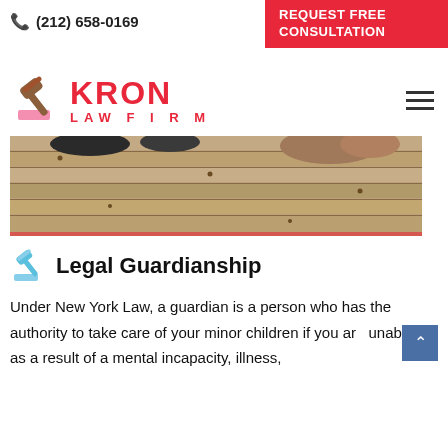(212) 658-0169  REQUEST FREE CONSULTATION
[Figure (logo): Kron Law Firm logo with gavel icon and red text KRON LAW FIRM]
[Figure (photo): Close-up photo of wooden deck boards with what appears to be shoes and a stuffed animal]
Legal Guardianship
Under New York Law, a guardian is a person who has the authority to take care of your minor children if you are unable to as a result of a mental incapacity, illness,